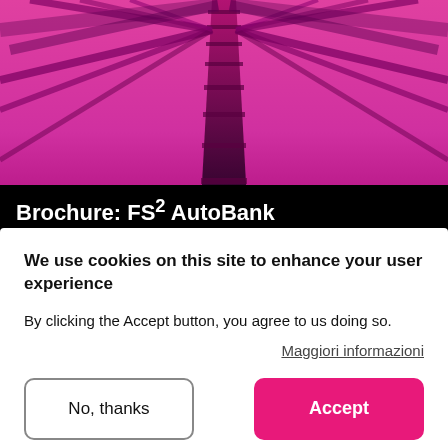[Figure (illustration): Pink/magenta stylized image of a railway track viewed from below looking up, with radiating structural elements against a bright pink gradient sky background]
Brochure: FS² AutoBank
We use cookies on this site to enhance your user experience
By clicking the Accept button, you agree to us doing so.
Maggiori informazioni
No, thanks
Accept